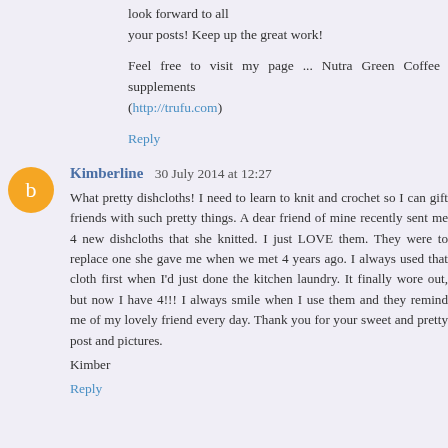look forward to all your posts! Keep up the great work!
Feel free to visit my page ... Nutra Green Coffee supplements (http://trufu.com)
Reply
Kimberline 30 July 2014 at 12:27
What pretty dishcloths! I need to learn to knit and crochet so I can gift friends with such pretty things. A dear friend of mine recently sent me 4 new dishcloths that she knitted. I just LOVE them. They were to replace one she gave me when we met 4 years ago. I always used that cloth first when I'd just done the kitchen laundry. It finally wore out, but now I have 4!!! I always smile when I use them and they remind me of my lovely friend every day. Thank you for your sweet and pretty post and pictures.
Kimber
Reply